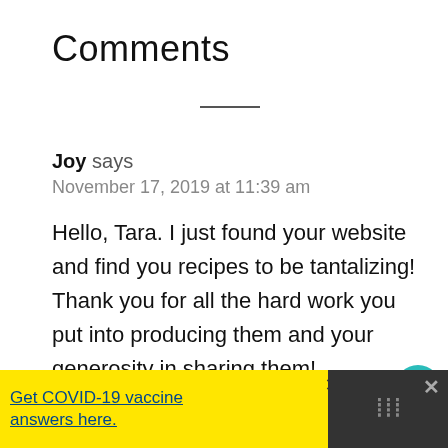Comments
Joy says
November 17, 2019 at 11:39 am
Hello, Tara. I just found your website and find you recipes to be tantalizing! Thank you for all the hard work you put into producing them and your generosity in sharing them!
Before Keto WOE, I would treat myself to
[Figure (other): Social widget with teal heart button showing 202 likes and a share button]
[Figure (other): Yellow advertisement banner: Get COVID-19 vaccine answers here. Ad Council and CDC logos. Close button at top right.]